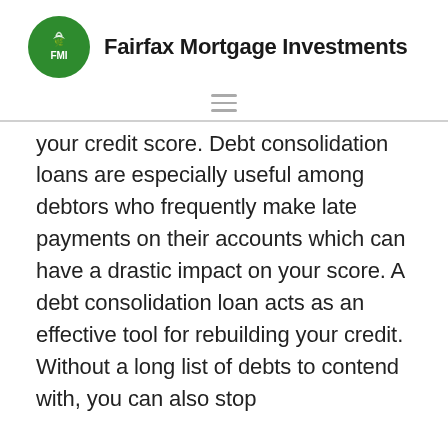Fairfax Mortgage Investments
your credit score. Debt consolidation loans are especially useful among debtors who frequently make late payments on their accounts which can have a drastic impact on your score. A debt consolidation loan acts as an effective tool for rebuilding your credit. Without a long list of debts to contend with, you can also stop